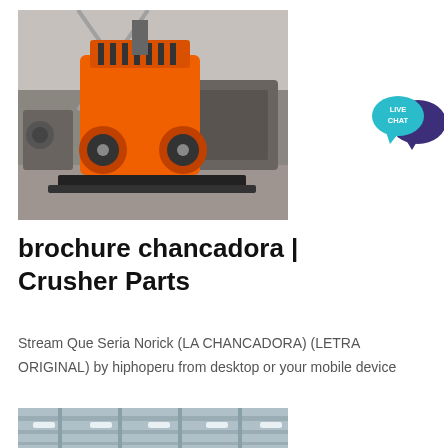[Figure (photo): Orange industrial crusher machine on a black frame, inside a factory/warehouse setting with metal structures in the background.]
[Figure (infographic): Live Chat button: teal speech bubble with 'LIVE CHAT' text, and a larger dark purple speech bubble partially behind it.]
brochure chancadora | Crusher Parts
Stream Que Seria Norick (LA CHANCADORA) (LETRA ORIGINAL) by hiphoperu from desktop or your mobile device
[Figure (photo): Partial view of an industrial building interior showing ceiling structure with lights.]